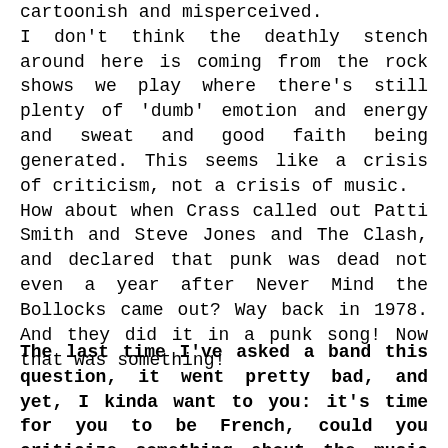cartoonish and misperceived.
I don't think the deathly stench around here is coming from the rock shows we play where there's still plenty of 'dumb' emotion and energy and sweat and good faith being generated. This seems like a crisis of criticism, not a crisis of music.
How about when Crass called out Patti Smith and Steve Jones and The Clash, and declared that punk was dead not even a year after Never Mind the Bollocks came out? Way back in 1978. And they did it in a punk song! Now that was something!
The last time I've asked a band this question, it went pretty bad, and yet, I kinda want to you: it's time for you to be French, could you criticize something about the music world that pissed you the most, and